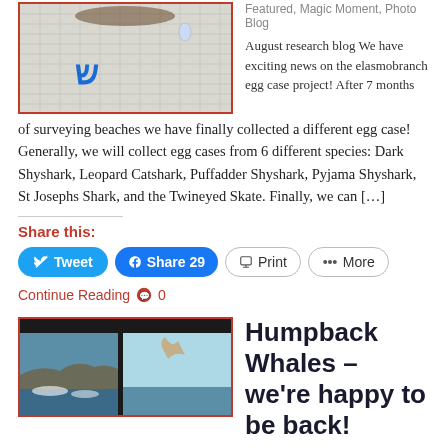[Figure (photo): Photo of an elasmobranch egg case on grid paper, with a blue symbol visible]
Featured, Magic Moment, Photo Blog
August research blog We have exciting news on the elasmobranch egg case project! After 7 months of surveying beaches we have finally collected a different egg case! Generally, we will collect egg cases from 6 different species: Dark Shyshark, Leopard Catshark, Puffadder Shyshark, Pyjama Shyshark, St Josephs Shark, and the Twineyed Skate. Finally, we can […]
Share this:
Tweet
Share 29
Print
More
Continue Reading 0
[Figure (photo): Photo of humpback whales at sea near a rocky coastline]
Humpback Whales – we're happy to be back!